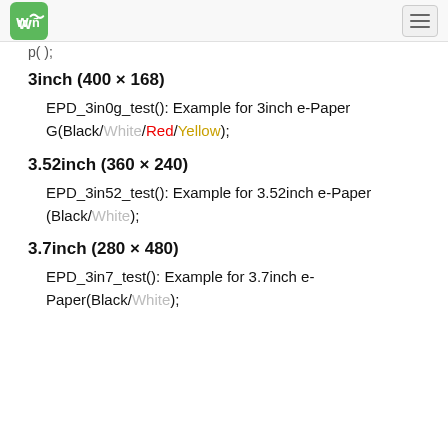[logo] [hamburger menu]
p( ... );
3inch (400 × 168)
EPD_3in0g_test(): Example for 3inch e-Paper G(Black/White/Red/Yellow);
3.52inch (360 × 240)
EPD_3in52_test(): Example for 3.52inch e-Paper (Black/White);
3.7inch (280 × 480)
EPD_3in7_test(): Example for 3.7inch e-Paper(Black/White);